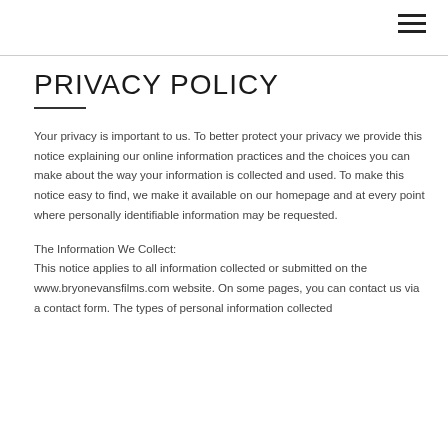≡
PRIVACY POLICY
Your privacy is important to us. To better protect your privacy we provide this notice explaining our online information practices and the choices you can make about the way your information is collected and used. To make this notice easy to find, we make it available on our homepage and at every point where personally identifiable information may be requested.
The Information We Collect:
This notice applies to all information collected or submitted on the www.bryonevansfilms.com website. On some pages, you can contact us via a contact form. The types of personal information collected